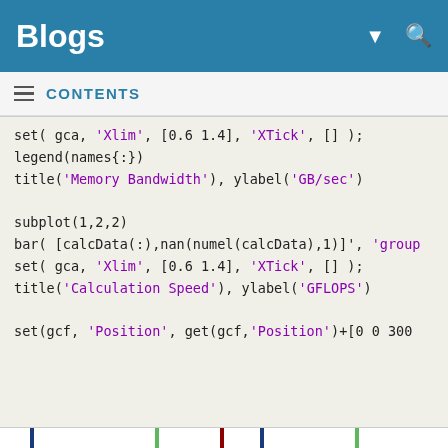Blogs
≡  CONTENTS
set( gca, 'Xlim', [0.6 1.4], 'XTick', [] );
legend(names{:})
title('Memory Bandwidth'), ylabel('GB/sec')

subplot(1,2,2)
bar( [calcData(:),nan(numel(calcData),1)]', 'group
set( gca, 'Xlim', [0.6 1.4], 'XTick', [] );
title('Calculation Speed'), ylabel('GFLOPS')

set(gcf, 'Position', get(gcf,'Position')+[0 0 300
[Figure (grouped-bar-chart): Bar chart showing Memory Bandwidth in GB/sec for This GPU (~113), Tesla M2090 (~133), and Tesla C1080 (~80), with legend showing This GPU (dark blue), This host (light blue), Tesla M2090 (green), Quadro 600 (orange), Tesla C1080 (dark red). Y-axis from 0 to 140.]
[Figure (bar-chart): Bar chart showing Calculation Speed in GFLOPS for This GPU (~330) and Tesla M2090 (~415). Y-axis from 200 to 450.]